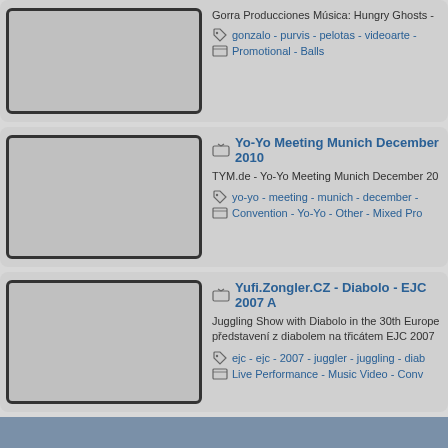Gorra Producciones Música: Hungry Ghosts - gonzalo - purvis - pelotas - videoarte - Promotional - Balls
Yo-Yo Meeting Munich December 2010 - TYM.de - Yo-Yo Meeting Munich December 2010 - yo-yo - meeting - munich - december - Convention - Yo-Yo - Other - Mixed Pro
Yufi.Zongler.CZ - Diabolo - EJC 2007 A - Juggling Show with Diabolo in the 30th European... představení z diabolem na třicátem EJC 2007 - ejc - ejc - 2007 - juggler - juggling - diab - Live Performance - Music Video - Conv
< About JTV >  < The JUGGLING EDGE